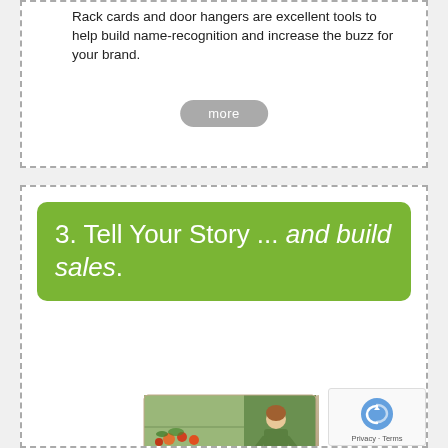Rack cards and door hangers are excellent tools to help build name-recognition and increase the buzz for your brand.
more
3. Tell Your Story ... and build sales.
[Figure (photo): A postcard mockup showing a market scene with a woman and produce, labeled 'the market']
Postcards
One of the most versatile, affordable, and well-received marketing tools available, postcards are a great way to share your story in words, image dazzling combination of both.